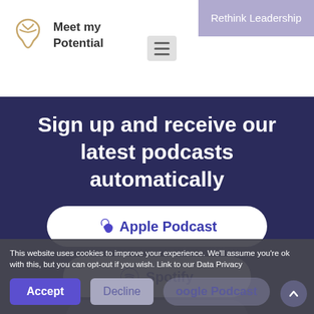[Figure (logo): Meet my Potential logo with stylized tooth/leaf icon in gold/tan color]
Meet my Potential
Rethink Leadership
Sign up and receive our latest podcasts automatically
[Figure (other): Apple Podcast button - white rounded pill button with Apple logo and text]
[Figure (other): Spotify button - white rounded pill button with Spotify logo and text]
[Figure (other): Stitcher button - partially visible grey rounded pill button]
[Figure (other): Google Podcast button - partially visible grey rounded pill button]
This website uses cookies to improve your experience. We'll assume you're ok with this, but you can opt-out if you wish. Link to our Data Privacy
Accept
Decline